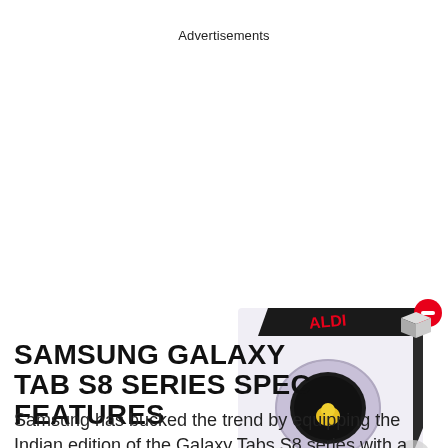Advertisements
[Figure (photo): Product box with a Samsung Galaxy Watch visible, partially overlapping the article title area. A red circle icon with minus sign and a 3D box icon are overlaid on the image.]
SAMSUNG GALAXY TAB S8 SERIES SPEC FEATURES
Samsung has bucked the trend by equipping the Indian edition of the Galaxy Tabs S8 series with a